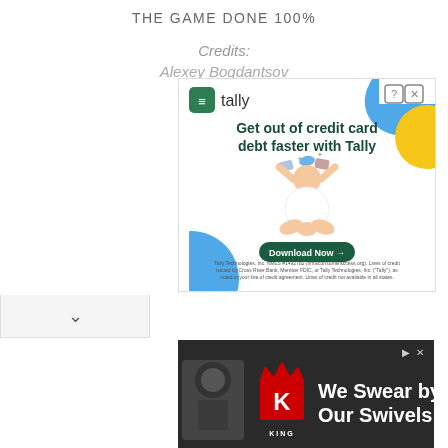THE GAME DONE 100%
Credits:
Alexey Bogdantsov
[Figure (other): Tally advertisement: Get out of credit card debt faster with Tally. Shows Tally logo, decorative blue/yellow shapes, illustration of person juggling credit cards, Download Now button, and disclaimer text.]
[Figure (other): King advertisement: We Swear by Our Swivels with King logo and crown.]